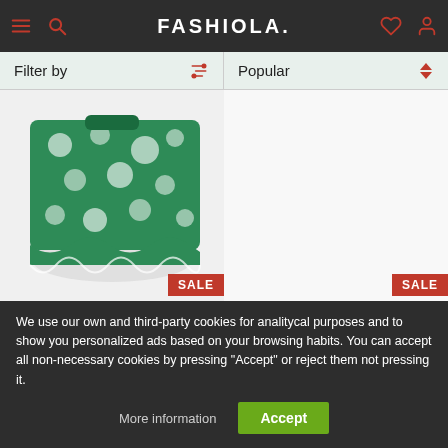FASHIOLA.
Filter by | Popular
[Figure (photo): Green floral mini dress/skirt product photo with SALE badge]
$14.98 $49.95
American Eagle Outfitters
Smockin On Sunshine Mi...
[Figure (photo): Product photo with SALE badge, right column, no image visible]
$11.98 $39.95
American Eagle Outfitters
Plaid Skater Mini Skirt Wo...
We use our own and third-party cookies for analitycal purposes and to show you personalized ads based on your browsing habits. You can accept all non-necessary cookies by pressing "Accept" or reject them not pressing it.
More information | Accept